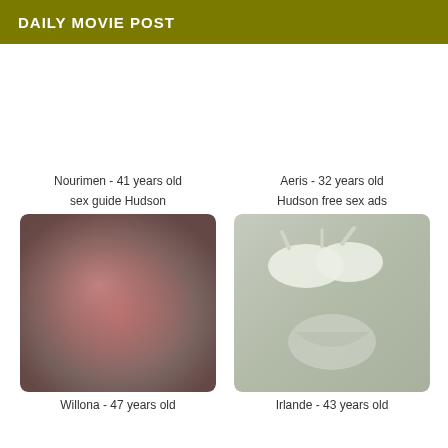DAILY MOVIE POST
Nourimen - 41 years old
sex guide Hudson
[Figure (photo): Blurry close-up photo with reddish tones]
Willona - 47 years old
Aeris - 32 years old
Hudson free sex ads
[Figure (photo): Photo of white bra and underwear on grey surface]
Irlande - 43 years old